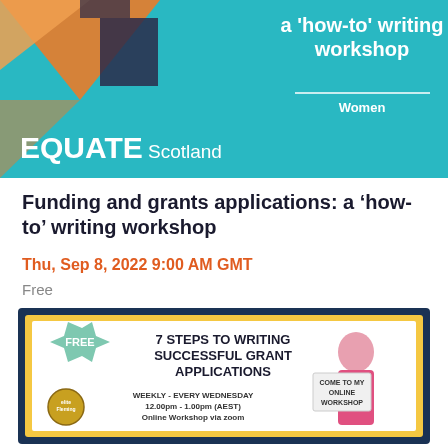[Figure (illustration): EQUATE Scotland banner — teal background with geometric shapes on the left, white text reading 'a how-to writing workshop', a horizontal divider, 'Women' label, and the EQUATE Scotland logo at bottom-left.]
Funding and grants applications: a ‘how-to’ writing workshop
Thu, Sep 8, 2022 9:00 AM GMT
Free
[Figure (illustration): Promotional flyer with dark navy border and gold inner border on white background. Green badge reads FREE. Text: '7 STEPS TO WRITING SUCCESSFUL GRANT APPLICATIONS'. Woman in pink dress holding sign 'COME TO MY ONLINE WORKSHOP'. Bottom text: 'WEEKLY - EVERY WEDNESDAY 12.00pm - 1.00pm (AEST) Online Workshop via zoom'. Logo circle at bottom left.]